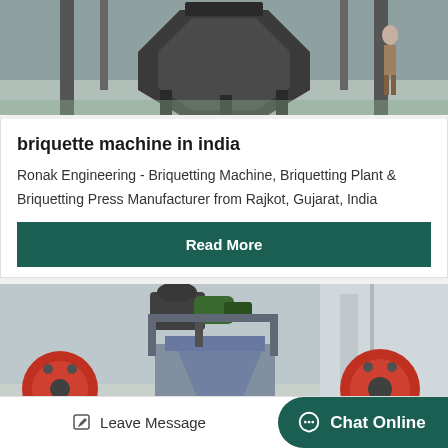[Figure (photo): Industrial briquette machine, large octagonal/hexagonal mechanical press structure, dark metal, industrial setting]
briquette machine in india
Ronak Engineering - Briquetting Machine, Briquetting Plant & Briquetting Press Manufacturer from Rajkot, Gujarat, India
Read More
[Figure (photo): Industrial briquetting plant machinery with motor, funnel/hopper structure, and large red flywheels, industrial warehouse setting]
Leave Message   Chat Online